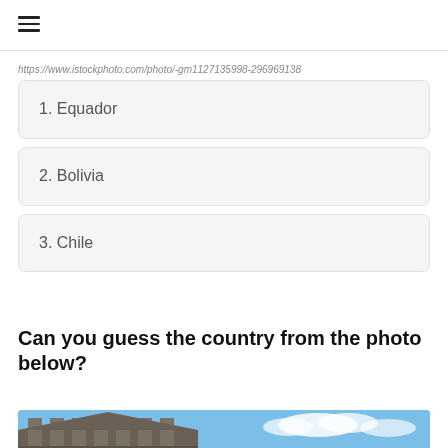☰
https://www.istockphoto.com/photo/-gm1127135998-296969138
1. Equador
2. Bolivia
3. Chile
Can you guess the country from the photo below?
[Figure (photo): Partial view of a building against a blue sky, cropped at the bottom of the page]